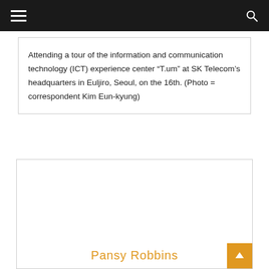Attending a tour of the information and communication technology (ICT) experience center “T.um” at SK Telecom’s headquarters in Euljiro, Seoul, on the 16th. (Photo = correspondent Kim Eun-kyung)
[Figure (photo): Second article card with photo placeholder area and author name Pansy Robbins at bottom]
Pansy Robbins